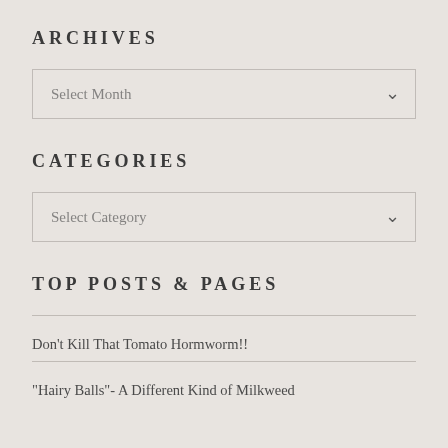ARCHIVES
Select Month
CATEGORIES
Select Category
TOP POSTS & PAGES
Don't Kill That Tomato Hormworm!!
"Hairy Balls"- A Different Kind of Milkweed